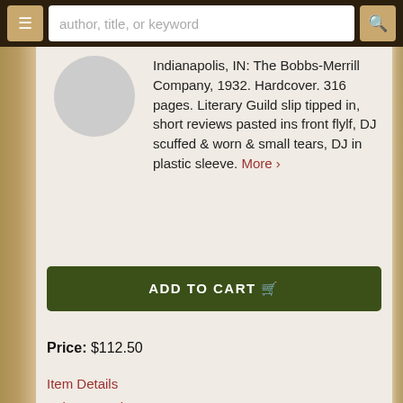author, title, or keyword
Indianapolis, IN: The Bobbs-Merrill Company, 1932. Hardcover. 316 pages. Literary Guild slip tipped in, short reviews pasted ins front flylf, DJ scuffed & worn & small tears, DJ in plastic sleeve. More ›
ADD TO CART 🛒
Price: $112.50
Item Details
Ask a Question
Boleslavski, Richard, with Woodward, Helen